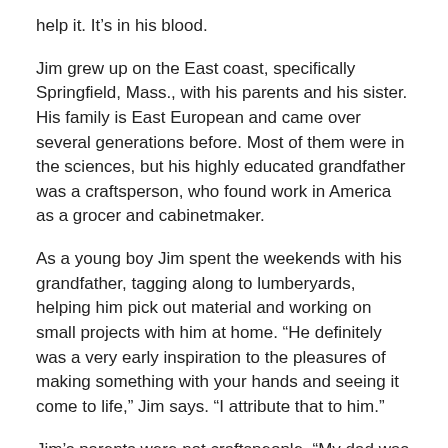help it. It's in his blood.
Jim grew up on the East coast, specifically Springfield, Mass., with his parents and his sister. His family is East European and came over several generations before. Most of them were in the sciences, but his highly educated grandfather was a craftsperson, who found work in America as a grocer and cabinetmaker.
As a young boy Jim spent the weekends with his grandfather, tagging along to lumberyards, helping him pick out material and working on small projects with him at home. “He definitely was a very early inspiration to the pleasures of making something with your hands and seeing it come to life,” Jim says. “I attribute that to him.”
Jim’s parents were not craftspeople. “My dad was basically a bean counter and a court reporter, and my mom was an at-home mom,” he says. “I related quite a bit more to my grandparents than I did to my own parents.”